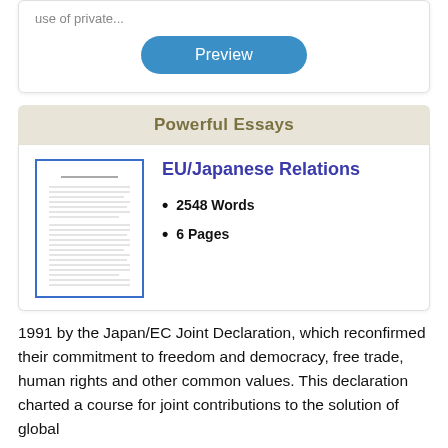use of private...
[Figure (other): Preview button – blue rounded rectangle]
Powerful Essays
[Figure (other): Thumbnail image of an essay document page with text lines]
EU/Japanese Relations
2548 Words
6 Pages
1991 by the Japan/EC Joint Declaration, which reconfirmed their commitment to freedom and democracy, free trade, human rights and other common values. This declaration charted a course for joint contributions to the solution of global